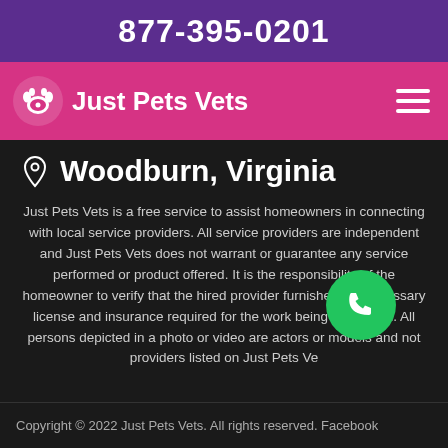877-395-0201
Just Pets Vets
Woodburn, Virginia
Just Pets Vets is a free service to assist homeowners in connecting with local service providers. All service providers are independent and Just Pets Vets does not warrant or guarantee any service performed or product offered. It is the responsibility of the homeowner to verify that the hired provider furnishes the necessary license and insurance required for the work being performed. All persons depicted in a photo or video are actors or models and not providers listed on Just Pets Vets.
Copyright © 2022 Just Pets Vets. All rights reserved. Facebook